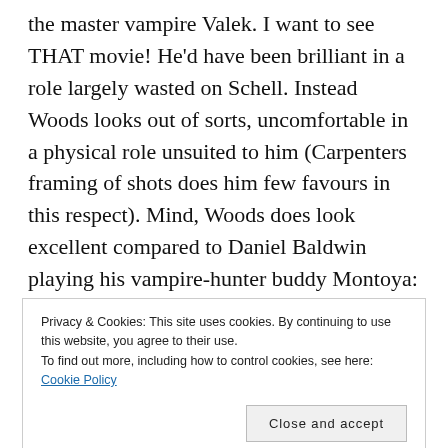the master vampire Valek. I want to see THAT movie! He'd have been brilliant in a role largely wasted on Schell. Instead Woods looks out of sorts, uncomfortable in a physical role unsuited to him (Carpenters framing of shots does him few favours in this respect). Mind, Woods does look excellent compared to Daniel Baldwin playing his vampire-hunter buddy Montoya: Baldwin is excruciatingly bad here, I've seen chairs that stand more convincingly than him,
Privacy & Cookies: This site uses cookies. By continuing to use this website, you agree to their use.
To find out more, including how to control cookies, see here: Cookie Policy
plank Baldwin.